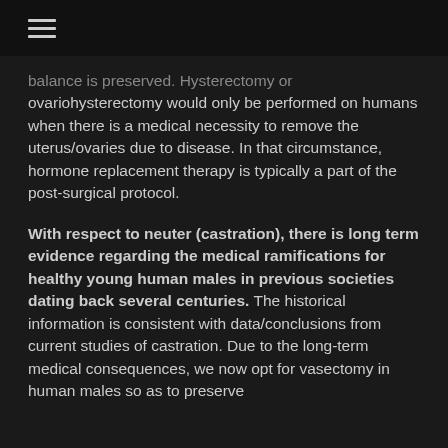☰
...balance is preserved. Hysterectomy or ovariohysterectomy would only be performed on humans when there is a medical necessity to remove the uterus/ovaries due to disease. In that circumstance, hormone replacement therapy is typically a part of the post-surgical protocol.
With respect to neuter (castration), there is long term evidence regarding the medical ramifications for healthy young human males in previous societies dating back several centuries. The historical information is consistent with data/conclusions from current studies of castration. Due to the long-term medical consequences, we now opt for vasectomy in human males so as to preserve